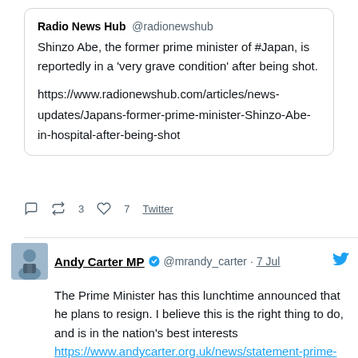[Figure (screenshot): Screenshot of a tweet from Radio News Hub (@radionewshub) stating: 'Shinzo Abe, the former prime minister of #Japan, is reportedly in a very grave condition after being shot.' with a link to radionewshub.com article. Shows 3 retweets and 7 likes.]
[Figure (screenshot): Screenshot of a tweet from Andy Carter MP (@mrandy_carter) dated 7 Jul with verified badge: 'The Prime Minister has this lunchtime announced that he plans to resign. I believe this is the right thing to do, and is in the nation's best interests' with link to andycarter.org.uk. Shows 2 retweets and 16 likes.]